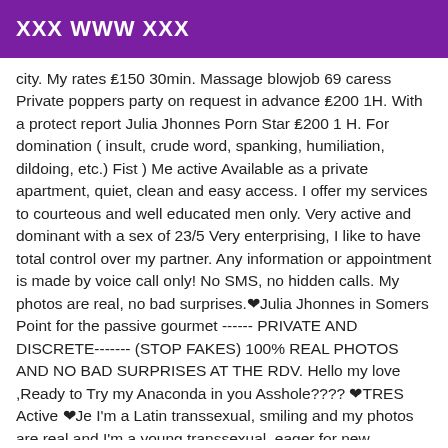XXX WWW XXX
city. My rates ₤150 30min. Massage blowjob 69 caress Private poppers party on request in advance ₤200 1H. With a protect report Julia Jhonnes Porn Star ₤200 1 H. For domination ( insult, crude word, spanking, humiliation, dildoing, etc.) Fist ) Me active Available as a private apartment, quiet, clean and easy access. I offer my services to courteous and well educated men only. Very active and dominant with a sex of 23/5 Very enterprising, I like to have total control over my partner. Any information or appointment is made by voice call only! No SMS, no hidden calls. My photos are real, no bad surprises.❤Julia Jhonnes in Somers Point for the passive gourmet ------ PRIVATE AND DISCRETE------- (STOP FAKES) 100% REAL PHOTOS AND NO BAD SURPRISES AT THE RDV. Hello my love ,Ready to Try my Anaconda in you Asshole???? ❤TRES Active ❤Je I'm a Latin transsexual, smiling and my photos are real and I'm a young transsexual, eager for new encounters with